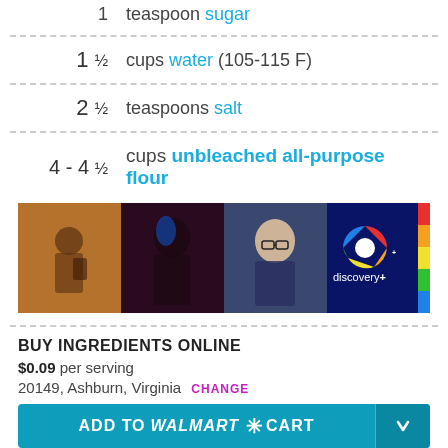1 teaspoon sugar
1½ cups water (105-115 F)
2½ teaspoons salt
4 - 4½ cups unbleached all-purpose flour
[Figure (photo): Discovery+ streaming service advertisement banner with three people and discovery+ logo]
BUY INGREDIENTS ONLINE
$0.09 per serving
20149, Ashburn, Virginia CHANGE
ADD TO Walmart CART
CREATE A SHOPPING LIST